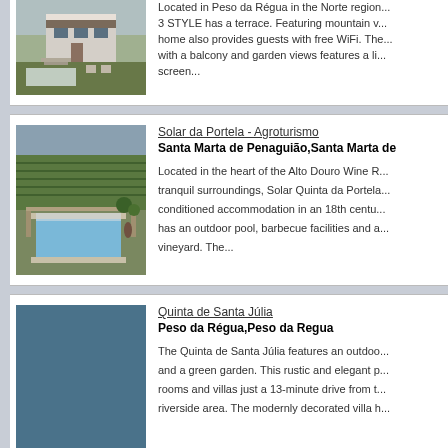[Figure (photo): Aerial/terrace view of a modern house with garden and outdoor furniture]
Located in Peso da Régua in the Norte region... 3 STYLE has a terrace. Featuring mountain v... home also provides guests with free WiFi. The... with a balcony and garden views features a li... screen...
Solar da Portela - Agroturismo
Santa Marta de Penaguião,Santa Marta de
[Figure (photo): Aerial view of a vineyard estate with outdoor swimming pool and green fields]
Located in the heart of the Alto Douro Wine R... tranquil surroundings, Solar Quinta da Portela... conditioned accommodation in an 18th centu... has an outdoor pool, barbecue facilities and a... vineyard. The...
Quinta de Santa Júlia
Peso da Régua,Peso da Regua
[Figure (photo): Blue/teal colored placeholder rectangle representing property image]
The Quinta de Santa Júlia features an outdoo... and a green garden. This rustic and elegant p... rooms and villas just a 13-minute drive from t... riverside area. The modernly decorated villa h...